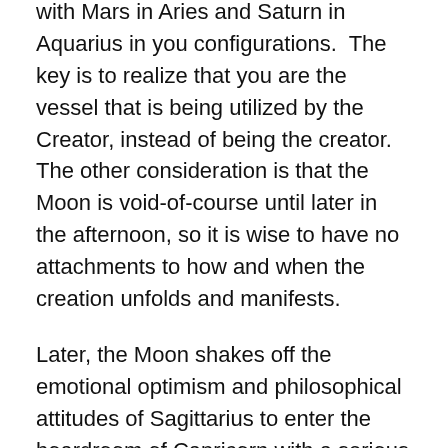with Mars in Aries and Saturn in Aquarius in you configurations.  The key is to realize that you are the vessel that is being utilized by the Creator, instead of being the creator.  The other consideration is that the Moon is void-of-course until later in the afternoon, so it is wise to have no attachments to how and when the creation unfolds and manifests.
Later, the Moon shakes off the emotional optimism and philosophical attitudes of Sagittarius to enter the boardroom of Capricorn with a serious demeanor relative to success, financial resources, and business relationships.  Even though Saturn the CEO of Capricorn is retrograde and currently taking a back seat at the table, it will step in to take the reins from Uranus in Taurus who is temporarily at the helm with innovative concepts about the technology of future plans.  More than likely, Saturn has